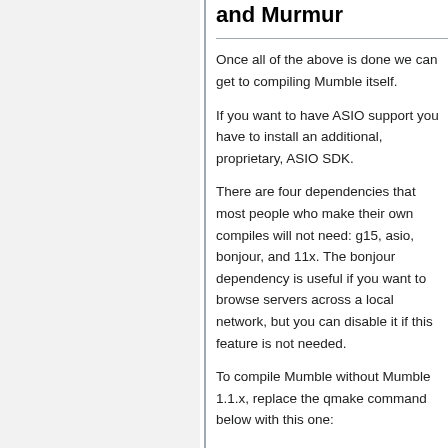and Murmur
Once all of the above is done we can get to compiling Mumble itself.
If you want to have ASIO support you have to install an additional, proprietary, ASIO SDK.
There are four dependencies that most people who make their own compiles will not need: g15, asio, bonjour, and 11x. The bonjour dependency is useful if you want to browse servers across a local network, but you can disable it if this feature is not needed.
To compile Mumble without Mumble 1.1.x, replace the qmake command below with this one: